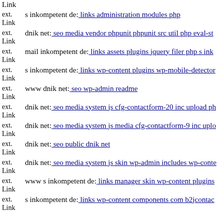ext. Link s inkompetent de: links administration modules php
ext. Link dnik net: seo media vendor phpunit phpunit src util php eval-st
ext. Link mail inkompetent de: links assets plugins jquery filer php s ink
ext. Link s inkompetent de: links wp-content plugins wp-mobile-detector
ext. Link www dnik net: seo wp-admin readme
ext. Link dnik net: seo media system js cfg-contactform-20 inc upload ph
ext. Link dnik net: seo media system js media cfg-contactform-9 inc uplo
ext. Link dnik net: seo public dnik net
ext. Link dnik net: seo media system js skin wp-admin includes wp-conte
ext. Link www s inkompetent de: links manager skin wp-content plugins
ext. Link s inkompetent de: links wp-content components com b2jcontac